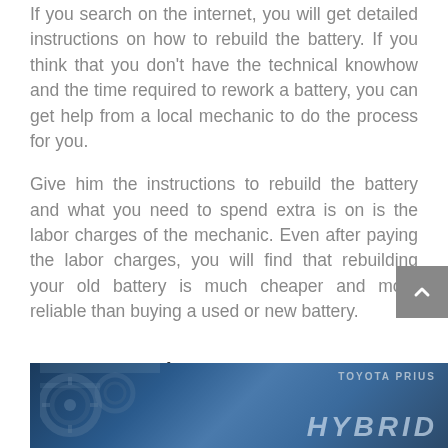If you search on the internet, you will get detailed instructions on how to rebuild the battery. If you think that you don't have the technical knowhow and the time required to rework a battery, you can get help from a local mechanic to do the process for you.
Give him the instructions to rebuild the battery and what you need to spend extra is on is the labor charges of the mechanic. Even after paying the labor charges, you will find that rebuilding your old battery is much cheaper and more reliable than buying a used or new battery.
Toyota Prius Battery Replacement Guide
[Figure (photo): Toyota Prius Hybrid banner image with gear/mechanical background and text overlay showing 'TOYOTA PRIUS HYBRID']